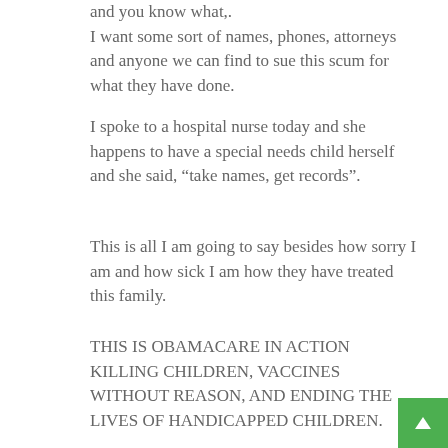and you know what,.
I want some sort of names, phones, attorneys and anyone we can find to sue this scum for what they have done.
I spoke to a hospital nurse today and she happens to have a special needs child herself and she said, “take names, get records”.
This is all I am going to say besides how sorry I am and how sick I am how they have treated this family.
THIS IS OBAMACARE IN ACTION KILLING CHILDREN, VACCINES WITHOUT REASON, AND ENDING THE LIVES OF HANDICAPPED CHILDREN.
ANY SUPPORT, SUGGESTIONS OR OTHERWISE FOR US PLEASE CONTACT ME.